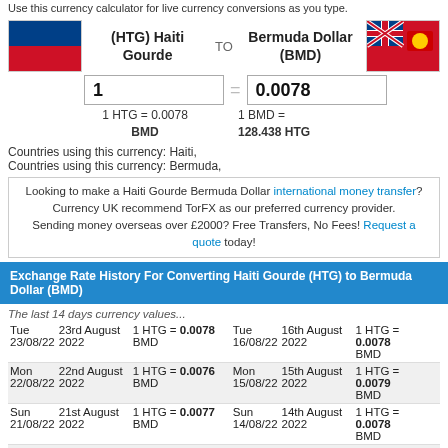Use this currency calculator for live currency conversions as you type.
[Figure (illustration): Haiti flag (blue and red horizontal stripes)]
(HTG) Haiti Gourde TO Bermuda Dollar (BMD)
[Figure (illustration): Bermuda flag (red with Union Jack and coat of arms)]
1
0.0078
1 HTG = 0.0078 BMD
1 BMD = 128.438 HTG
Countries using this currency: Haiti,
Countries using this currency: Bermuda,
Looking to make a Haiti Gourde Bermuda Dollar international money transfer? Currency UK recommend TorFX as our preferred currency provider. Sending money overseas over £2000? Free Transfers, No Fees! Request a quote today!
Exchange Rate History For Converting Haiti Gourde (HTG) to Bermuda Dollar (BMD)
The last 14 days currency values...
| Day | Date | Rate | Day | Date | Rate |
| --- | --- | --- | --- | --- | --- |
| Tue 23/08/22 | 23rd August 2022 | 1 HTG = 0.0078 BMD | Tue 16/08/22 | 16th August 2022 | 1 HTG = 0.0078 BMD |
| Mon 22/08/22 | 22nd August 2022 | 1 HTG = 0.0076 BMD | Mon 15/08/22 | 15th August 2022 | 1 HTG = 0.0079 BMD |
| Sun 21/08/22 | 21st August 2022 | 1 HTG = 0.0077 BMD | Sun 14/08/22 | 14th August 2022 | 1 HTG = 0.0078 BMD |
| Sat 20/08/22 | 20th August 2022 | 1 HTG = 0.0077 BMD | Sat 13/08/22 | 13th August 2022 | 1 HTG = 0.0078 BMD |